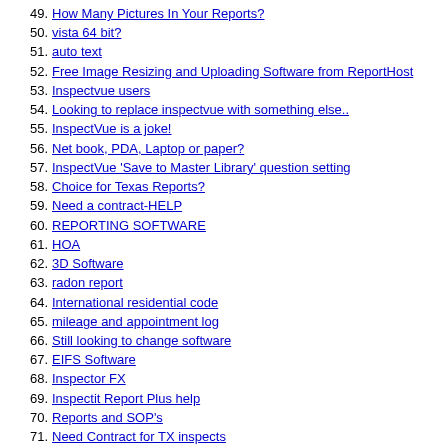49. How Many Pictures In Your Reports?
50. vista 64 bit?
51. auto text
52. Free Image Resizing and Uploading Software from ReportHost
53. Inspectvue users
54. Looking to replace inspectvue with something else..
55. InspectVue is a joke!
56. Net book, PDA, Laptop or paper?
57. InspectVue 'Save to Master Library' question setting
58. Choice for Texas Reports?
59. Need a contract-HELP
60. REPORTING SOFTWARE
61. HOA
62. 3D Software
63. radon report
64. International residential code
65. mileage and appointment log
66. Still looking to change software
67. EIFS Software
68. Inspector FX
69. Inspectit Report Plus help
70. Reports and SOP's
71. Need Contract for TX inspects
72. Infrared reports
73. Internet Exploder
74. Inspectvue 5 is out.
75. Multiple InspectVue libraries on same data card?
76. EZ Inspection Software
77. Inspection terms